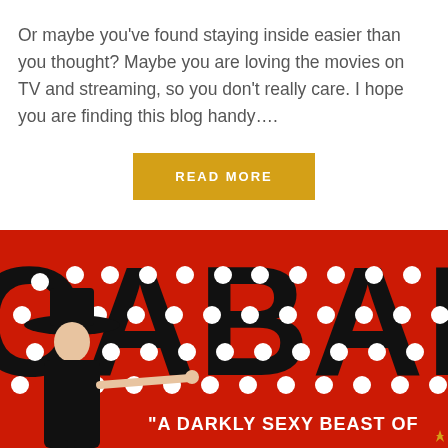Or maybe you've found staying inside easier than you thought? Maybe you are loving the movies on TV and streaming, so you don't really care. I hope you are finding this blog handy….
READ MORE
[Figure (photo): Cabaret musical poster on bright red background with large black block letters spelling CABARET covered in white dots/lights, a figure in a black hat on the left side, and the text "A DARKLY SEXY BEAST OF" at the bottom with a gold star in the lower right corner.]